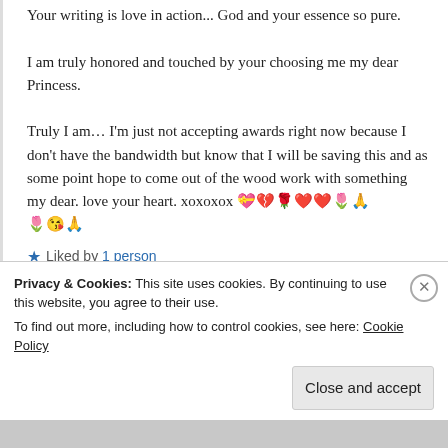Your writing is love in action... God and your essence so pure.
I am truly honored and touched by your choosing me my dear Princess.
Truly I am… I'm just not accepting awards right now because I don't have the bandwidth but know that I will be saving this and as some point hope to come out of the wood work with something my dear. love your heart. xoxoxox 💝💔🌹❤️❤️🌷🙏🌷😘🙏
★ Liked by 1 person
Privacy & Cookies: This site uses cookies. By continuing to use this website, you agree to their use.
To find out more, including how to control cookies, see here: Cookie Policy
Close and accept